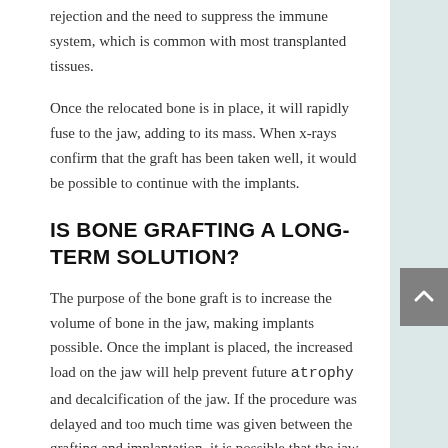rejection and the need to suppress the immune system, which is common with most transplanted tissues.
Once the relocated bone is in place, it will rapidly fuse to the jaw, adding to its mass. When x-rays confirm that the graft has been taken well, it would be possible to continue with the implants.
IS BONE GRAFTING A LONG-TERM SOLUTION?
The purpose of the bone graft is to increase the volume of bone in the jaw, making implants possible. Once the implant is placed, the increased load on the jaw will help prevent future atrophy and decalcification of the jaw. If the procedure was delayed and too much time was given between the grafting and implantation, it is possible that the jaw could